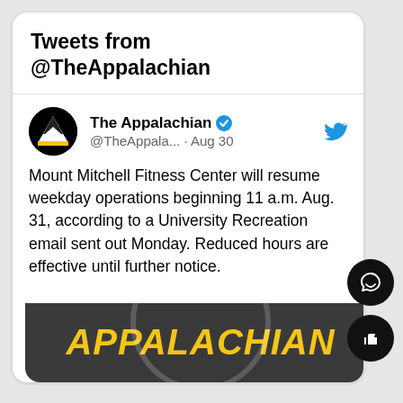Tweets from @TheAppalachian
The Appalachian @TheAppala... · Aug 30
Mount Mitchell Fitness Center will resume weekday operations beginning 11 a.m. Aug. 31, according to a University Recreation email sent out Monday. Reduced hours are effective until further notice.

Read more in the story by James Moser at the link below:
bit.ly/3Q1vJOm
[Figure (photo): Dark gray banner image with 'APPALACHIAN' text in bold yellow italic letters and a faint circular arc graphic in background]